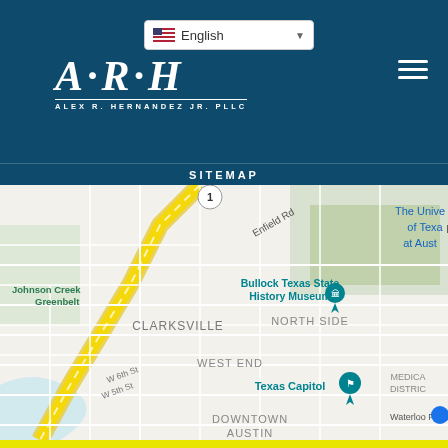English (language selector)
[Figure (logo): ARH Alex R. Hernandez Jr. PLLC law firm logo in white on dark teal header]
SITEMAP
[Figure (map): Google Maps view of Austin Texas showing Clarksville, West End, North Side, Johnson Creek Greenbelt, Enfield Rd, Harry Ransom Center, Bullock Texas State History Museum, Texas Capitol, University of Texas at Austin, Medical District, Waterloo Park, Downtown Austin]
Click Phone to Call